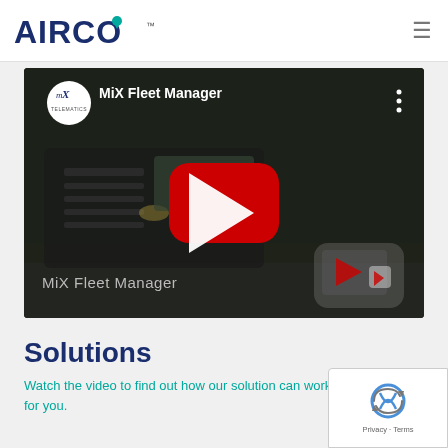AIRCO
[Figure (screenshot): YouTube video thumbnail showing MiX Fleet Manager video with a truck in dark/night setting, YouTube play button in center, MiX Telematics channel icon top left, video title 'MiX Fleet Manager' at top and bottom, and a mini TV/watch later icon at bottom right]
Solutions
Watch the video to find out how our solution can work for you.